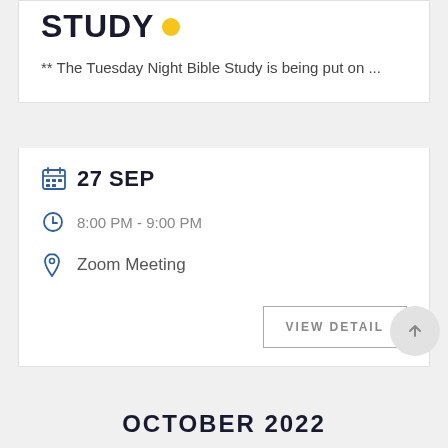STUDY
** The Tuesday Night Bible Study is being put on ...
27 SEP
8:00 PM - 9:00 PM
Zoom Meeting
VIEW DETAIL
OCTOBER 2022